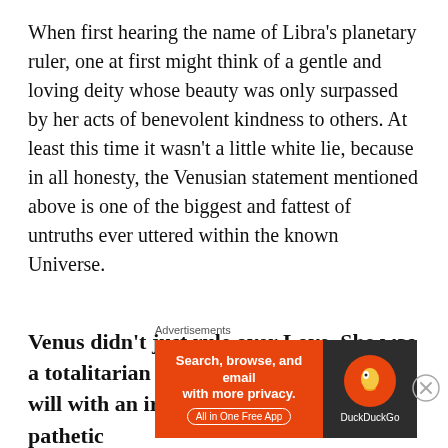When first hearing the name of Libra's planetary ruler, one at first might think of a gentle and loving deity whose beauty was only surpassed by her acts of benevolent kindness to others. At least this time it wasn't a little white lie, because in all honesty, the Venusian statement mentioned above is one of the biggest and fattest of untruths ever uttered within the known Universe.
Venus didn't just rule over Love. She was a totalitarian dictator who enforced her will with an iron fist and fear for your pathetic
Advertisements
[Figure (screenshot): DuckDuckGo advertisement banner: orange left side with text 'Search, browse, and email with more privacy. All in One Free App', dark right side with DuckDuckGo duck logo and brand name.]